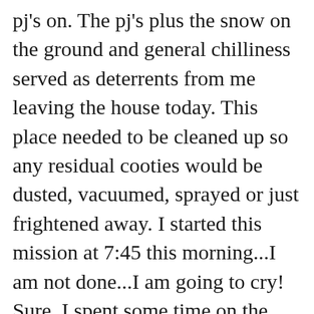pj's on. The pj's plus the snow on the ground and general chilliness served as deterrents from me leaving the house today. This place needed to be cleaned up so any residual cooties would be dusted, vacuumed, sprayed or just frightened away. I started this mission at 7:45 this morning...I am not done...I am going to cry! Sure, I spent some time on the computer and nourishing myself, plus a minor stop to take some allergy medicine to